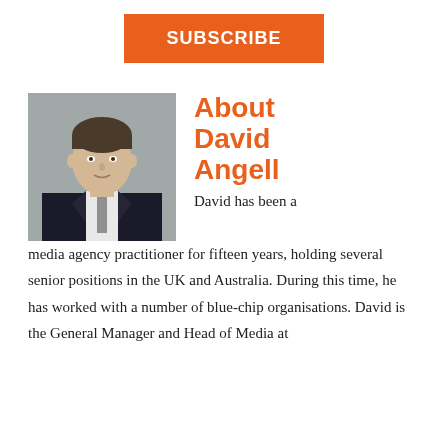SUBSCRIBE
[Figure (photo): Headshot of David Angell, a man in a dark suit with a grey tie, against a grey background]
About David Angell
David has been a media agency practitioner for fifteen years, holding several senior positions in the UK and Australia. During this time, he has worked with a number of blue-chip organisations. David is the General Manager and Head of Media at